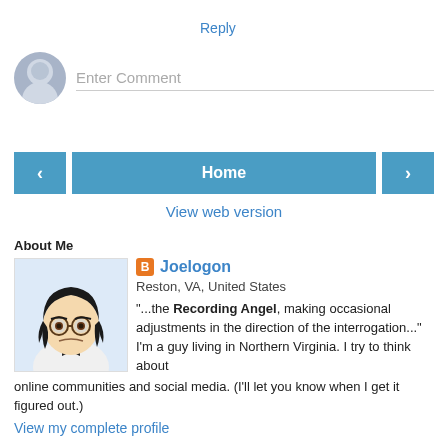Reply
Enter Comment
Home
View web version
About Me
[Figure (illustration): Cartoon avatar of a person with dark hair and glasses]
Joelogon
Reston, VA, United States
"...the Recording Angel, making occasional adjustments in the direction of the interrogation..." I'm a guy living in Northern Virginia. I try to think about online communities and social media. (I'll let you know when I get it figured out.)
View my complete profile